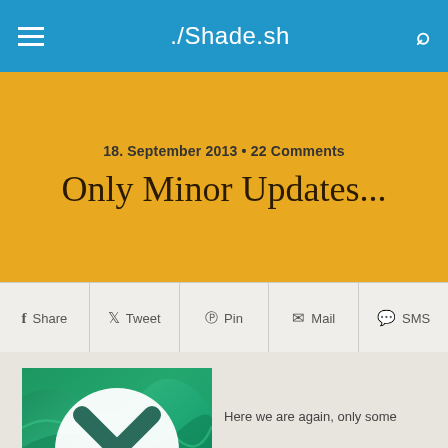./Shade.sh
18. September 2013 • 22 Comments
Only Minor Updates...
Share   Tweet   Pin   Mail   SMS
[Figure (screenshot): OS X Mavericks logo — green wave background with a white circle containing a dark teal X, and 'OS X Mavericks' label at the bottom]
Here we are again, only some